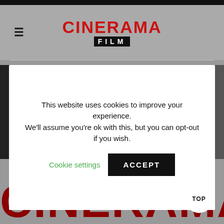[Figure (screenshot): Cinerama Film website screenshot showing header with logo, cookie consent modal, and large red CINERAMA text at bottom]
CINERAMA FILM
This website uses cookies to improve your experience. We'll assume you're ok with this, but you can opt-out if you wish.
Cookie settings   ACCEPT
CINERAMA